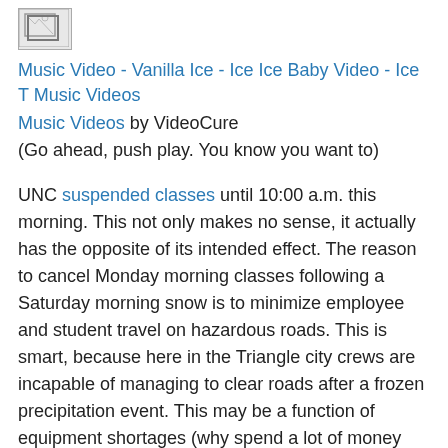[Figure (photo): Thumbnail image placeholder with broken image icon]
Music Video - Vanilla Ice - Ice Ice Baby Video - Ice T Music Videos
Music Videos by VideoCure
(Go ahead, push play. You know you want to)
UNC suspended classes until 10:00 a.m. this morning. This not only makes no sense, it actually has the opposite of its intended effect. The reason to cancel Monday morning classes following a Saturday morning snow is to minimize employee and student travel on hazardous roads. This is smart, because here in the Triangle city crews are incapable of managing to clear roads after a frozen precipitation event. This may be a function of equipment shortages (why spend a lot of money preparing for rare events) or lack of knowledge. As a consequence, every time we have some event, roads remain treacherous for a number of days. So, the University (and local schools) suspend classes so that we aren't traveling in dangerous conditions.
However, cancelling class until 10:00 actually exposes students and employees to more treacherous road